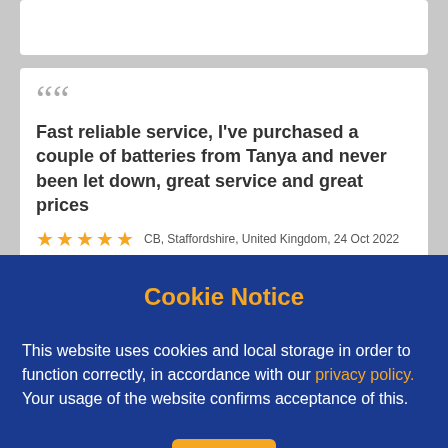Fast reliable service, I've purchased a couple of batteries from Tanya and never been let down, great service and great prices
Cookie Notice
This website uses cookies and local storage in order to function correctly, in accordance with our privacy policy. Your usage of the website confirms acceptance of this.
Ok
[Figure (logo): Tayna Batteries logo with battery bolt icon]
[Figure (logo): WhatsApp green phone icon in speech bubble]